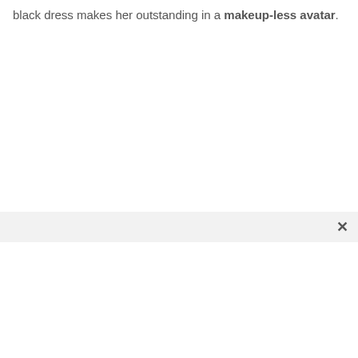black dress makes her outstanding in a makeup-less avatar.